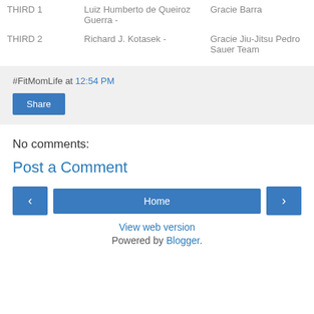|  |  |  |
| --- | --- | --- |
| THIRD 1 | Luiz Humberto de Queiroz Guerra - | Gracie Barra |
| THIRD 2 | Richard J. Kotasek - | Gracie Jiu-Jitsu Pedro Sauer Team |
#FitMomLife at 12:54 PM
Share
No comments:
Post a Comment
Home
View web version
Powered by Blogger.